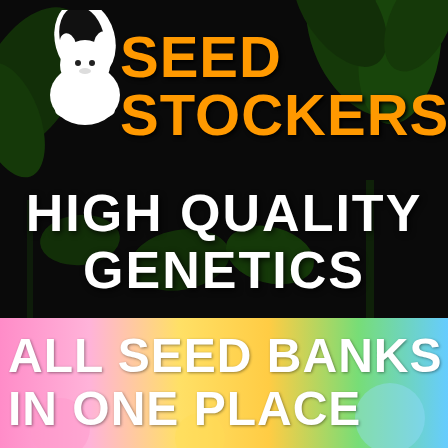[Figure (logo): Seed Stockers logo: white squirrel mascot on black background with green cannabis leaves, orange bold text SEED STOCKERS.com, and white bold text HIGH QUALITY GENETICS below]
[Figure (infographic): Colorful rainbow gradient banner with white bold text ALL SEED BANKS IN ONE PLACE]